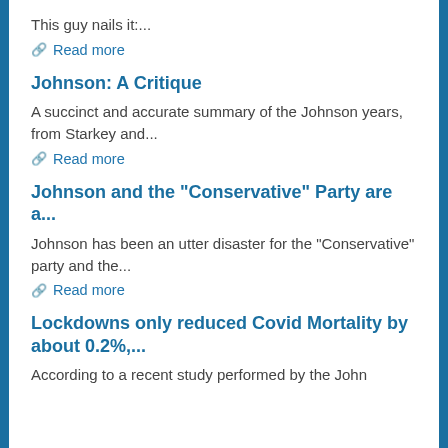This guy nails it:...
% Read more
Johnson: A Critique
A succinct and accurate summary of the Johnson years, from Starkey and...
% Read more
Johnson and the "Conservative" Party are a...
Johnson has been an utter disaster for the "Conservative" party and the...
% Read more
Lockdowns only reduced Covid Mortality by about 0.2%,...
According to a recent study performed by the John Hopkins School of...